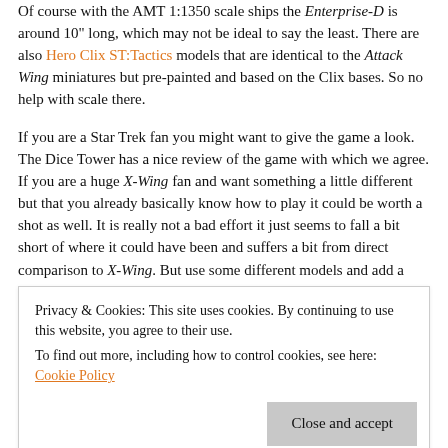Of course with the AMT 1:1350 scale ships the Enterprise-D is around 10" long, which may not be ideal to say the least. There are also Hero Clix ST:Tactics models that are identical to the Attack Wing miniatures but pre-painted and based on the Clix bases. So no help with scale there.
If you are a Star Trek fan you might want to give the game a look. The Dice Tower has a nice review of the game with which we agree. If you are a huge X-Wing fan and want something a little different but that you already basically know how to play it could be worth a shot as well. It is really not a bad effort it just seems to fall a bit short of where it could have been and suffers a bit from direct comparison to X-Wing. But use some different models and add a few house rules and it could be a quick fun Star Trek game that is a lot lighter and faster playing than most out there.
Privacy & Cookies: This site uses cookies. By continuing to use this website, you agree to their use.
To find out more, including how to control cookies, see here: Cookie Policy
Also see our look at Star Trek: Fleet Captains, and look at Star Trek